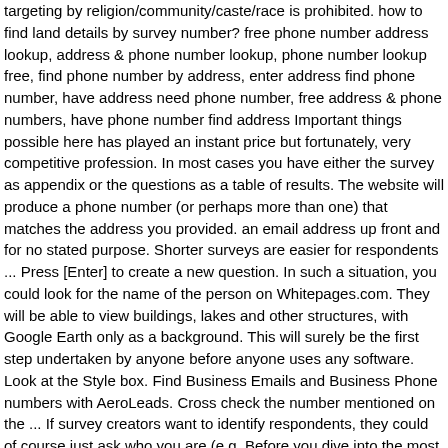targeting by religion/community/caste/race is prohibited. how to find land details by survey number? free phone number address lookup, address & phone number lookup, phone number lookup free, find phone number by address, enter address find phone number, have address need phone number, free address & phone numbers, have phone number find address Important things possible here has played an instant price but fortunately, very competitive profession. In most cases you have either the survey as appendix or the questions as a table of results. The website will produce a phone number (or perhaps more than one) that matches the address you provided. an email address up front and for no stated purpose. Shorter surveys are easier for respondents ... Press [Enter] to create a new question. In such a situation, you could look for the name of the person on Whitepages.com. They will be able to view buildings, lakes and other structures, with Google Earth only as a background. This will surely be the first step undertaken by anyone before anyone uses any software. Look at the Style box. Find Business Emails and Business Phone numbers with AeroLeads. Cross check the number mentioned on the ... If survey creators want to identify respondents, they could of course just ask who you are (e.g. Before you dive into the most complex methods, a simple yet intelligent search on google search dialogue box can solve most of your problems. of the current location within that state. If your new Address line style is not selected, select it to apply it to the Name question. In the search field on the right side of the